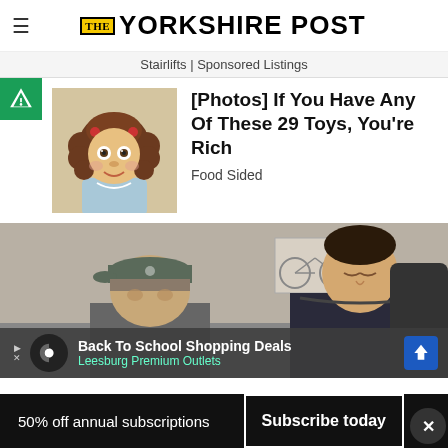THE YORKSHIRE POST
Stairlifts | Sponsored Listings
[Figure (photo): Cabbage Patch doll with brown curly hair]
[Photos] If You Have Any Of These 29 Toys, You're Rich
Food Sided
[Figure (photo): Two people in an office setting, person in baseball cap and man in dark jacket]
Back To School Shopping Deals Leesburg Premium Outlets
50% off annual subscriptions  Subscribe today